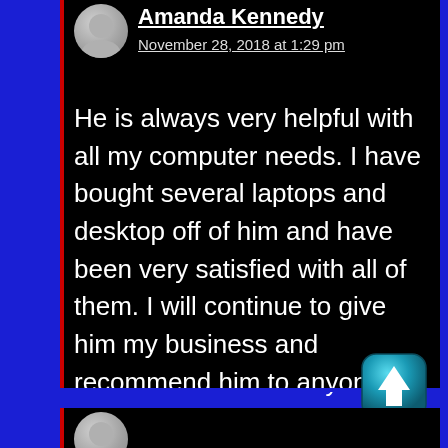Amanda Kennedy
November 28, 2018 at 1:29 pm
He is always very helpful with all my computer needs. I have bought several laptops and desktop off of him and have been very satisfied with all of them. I will continue to give him my business and recommend him to anyone.
[Figure (illustration): Scroll-to-top button: rounded square with teal/blue gradient and white upward arrow icon]
[Figure (illustration): Partial avatar circle visible at bottom of page, gray silhouette]